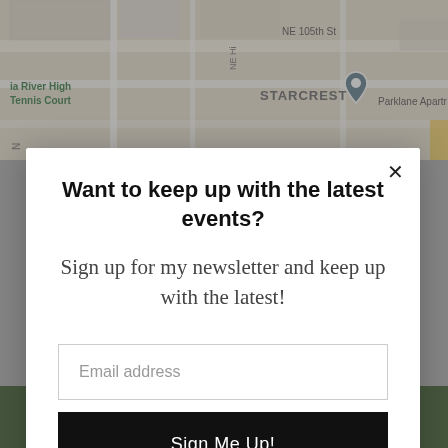[Figure (map): Google Maps screenshot showing Starcrest neighborhood, NE 105th St, ia River High Tennis Court, Parklane Apartments, with a map pin marker]
Want to keep up with the latest events?
Sign up for my newsletter and keep up with the latest!
Email address
Sign Me Up!